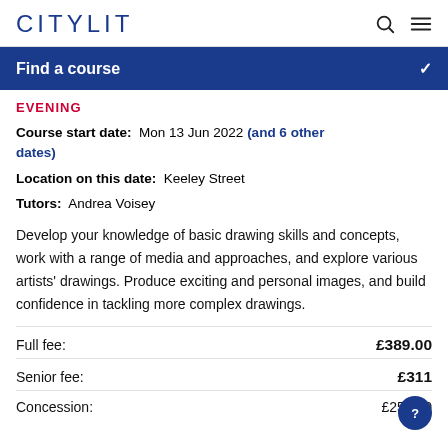CITYLIT
Find a course
EVENING
Course start date: Mon 13 Jun 2022 (and 6 other dates)
Location on this date: Keeley Street
Tutors: Andrea Voisey
Develop your knowledge of basic drawing skills and concepts, work with a range of media and approaches, and explore various artists' drawings. Produce exciting and personal images, and build confidence in tackling more complex drawings.
Full fee: £389.00
Senior fee: £311
Concession: £253.00